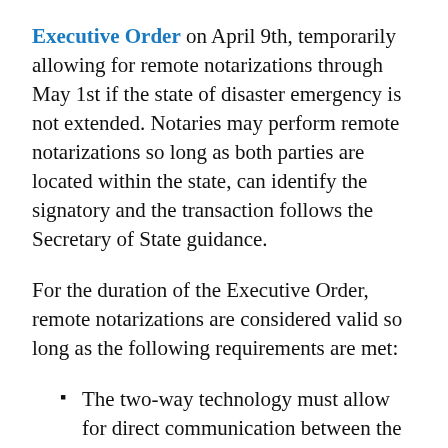Executive Order on April 9th, temporarily allowing for remote notarizations through May 1st if the state of disaster emergency is not extended. Notaries may perform remote notarizations so long as both parties are located within the state, can identify the signatory and the transaction follows the Secretary of State guidance.
For the duration of the Executive Order, remote notarizations are considered valid so long as the following requirements are met:
The two-way technology must allow for direct communication between the notary and the signatory by sight and sound.
The signatory must state what document